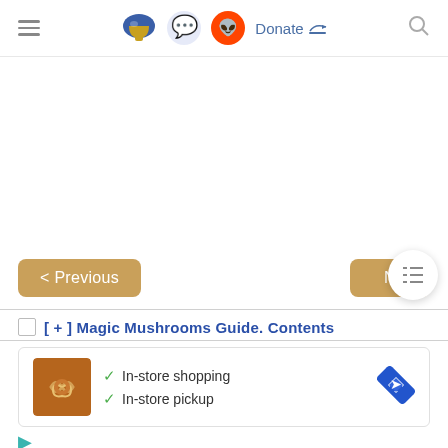≡  [mushroom icon] [discord icon] [reddit icon]  Donate  🔍
[Figure (screenshot): Large white advertisement/empty space area]
< Previous
N
[ + ] Magic Mushrooms Guide. Contents
[Figure (infographic): Ad card showing a spiral pastry thumbnail with checkmarks: In-store shopping, In-store pickup, and a blue diamond navigation icon]